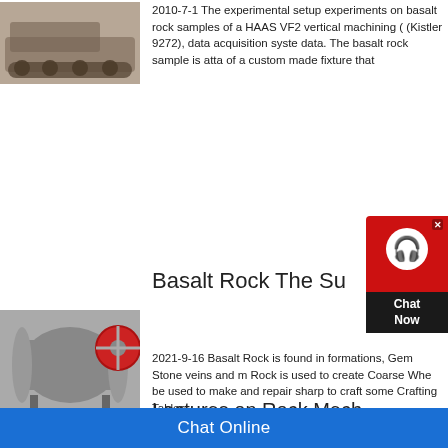[Figure (photo): Industrial tracked vehicle or mining equipment photographed in a yard]
2010-7-1   The experimental setup experiments on basalt rock samples of a HAAS VF2 vertical machining ( (Kistler 9272), data acquisition syste data. The basalt rock sample is atta of a custom made fixture that
[Figure (photo): Industrial ball mill or grinding mill with large cylindrical drum and red wheel]
Basalt Rock The Su
2021-9-16    Basalt Rock is found in formations, Gem Stone veins and m Rock is used to create Coarse Whe be used to make and repair sharp to craft some Crafting Tables.
[Figure (photo): Dark gray basalt rock surface texture]
Lectures on Rock Mech Rock Mechanics